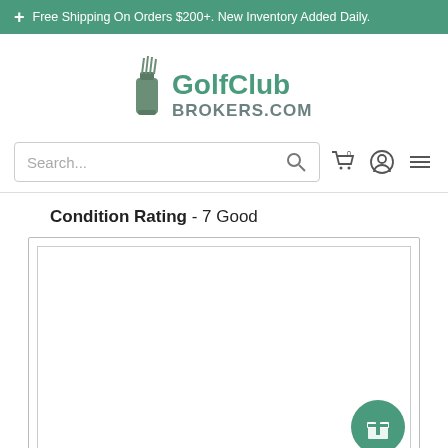+ Free Shipping On Orders $200+. New Inventory Added Daily.
[Figure (logo): GolfClub Brokers.com logo with golf bag icon and green text]
[Figure (screenshot): Search bar with search icon, cart icon (0), user account icon, and hamburger menu icon]
Condition Rating - 7 Good
[Figure (photo): Empty white image placeholder box with a gift/reward button in the bottom right corner]